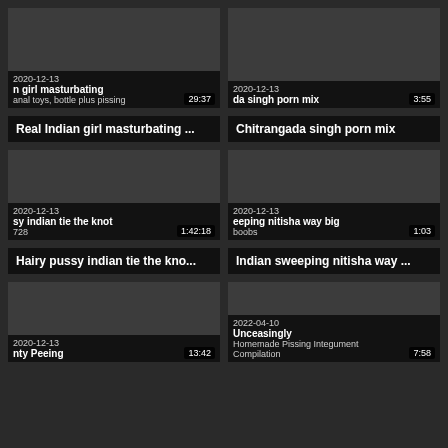[Figure (screenshot): Video thumbnail: Real Indian girl masturbating, date 2020-12-13, duration 29:37, subtitle: anal toys, bottle plus pissing]
[Figure (screenshot): Video thumbnail: Chitrangada singh porn mix, date 2020-12-13, duration 3:55]
Real Indian girl masturbating ...
Chitrangada singh porn mix
[Figure (screenshot): Video thumbnail: Hairy pussy indian tie the knot, date 2020-12-13, duration 1:42:18, sub: 728]
[Figure (screenshot): Video thumbnail: Indian sweeping nitisha way big boobs, date 2020-12-13, duration 1:03]
Hairy pussy indian tie the kno...
Indian sweeping nitisha way ...
[Figure (screenshot): Video thumbnail: Indian Aunty Peeing, date 2020-12-13, duration 13:42]
[Figure (screenshot): Video thumbnail: Poonish Unceasingly Homemade Pissing Integument Compilation, date 2022-04-10, duration 7:58]